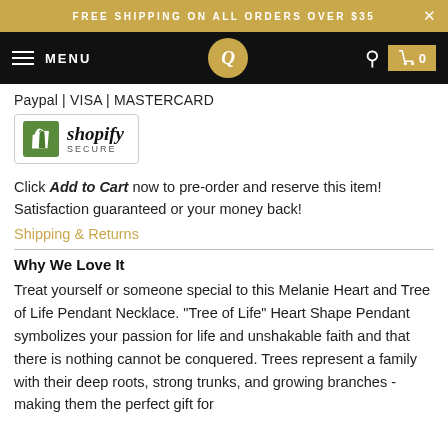FREE SHIPPING ON ALL ORDERS OVER $35
[Figure (screenshot): E-commerce navigation bar with hamburger menu, MENU text, circular logo with Q, search icon, and cart icon showing 0]
Paypal | VISA | MASTERCARD
[Figure (logo): Shopify Secure badge with green shopping bag logo and shopify SECURE text]
Click Add to Cart now to pre-order and reserve this item! Satisfaction guaranteed or your money back!
Shipping & Returns
Why We Love It
Treat yourself or someone special to this Melanie Heart and Tree of Life Pendant Necklace. "Tree of Life" Heart Shape Pendant symbolizes your passion for life and unshakable faith and that there is nothing cannot be conquered. Trees represent a family with their deep roots, strong trunks, and growing branches - making them the perfect gift for